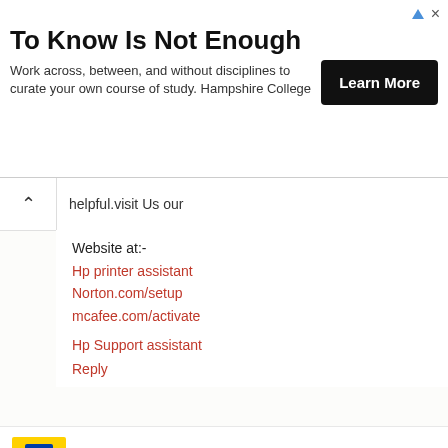[Figure (infographic): Advertisement banner for Hampshire College: 'To Know Is Not Enough' with 'Learn More' button]
helpful.visit Us our
Website at:-
Hp printer assistant
Norton.com/setup
mcafee.com/activate
Hp Support assistant
Reply
sara jones July 30, 2019 at 11:55 PM
I am looking for such an informative post for a long time. Thank you for this post.visit@:my site:-best buy customer service number/Hp printer support | Hp printer assistant /
Reply